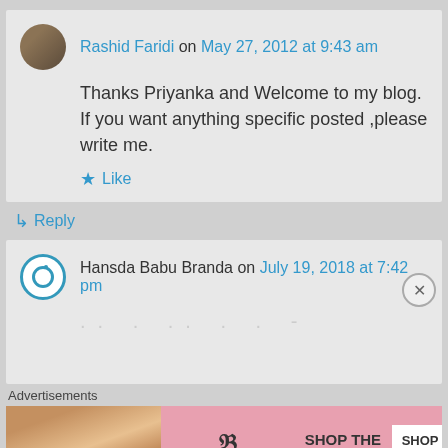Rashid Faridi on May 27, 2012 at 9:43 am
Thanks Priyanka and Welcome to my blog. If you want anything specific posted ,please write me.
Like
Reply
Hansda Babu Branda on July 19, 2018 at 7:42 pm
Advertisements
[Figure (photo): Victoria's Secret advertisement banner with model photo, logo, SHOP THE COLLECTION text, and SHOP NOW button]